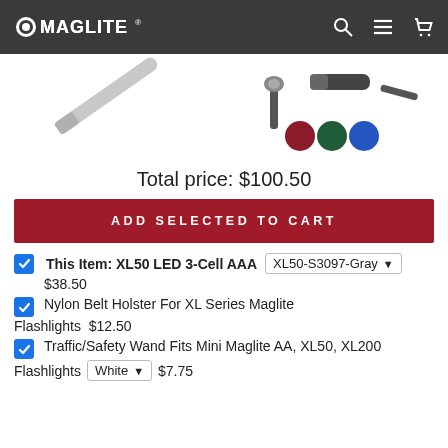MAGLITE
[Figure (photo): Product images showing a gray flashlight wand and a flashlight kit with colored lens filters (red, green, blue) and accessories]
Total price: $100.50
ADD SELECTED TO CART
This Item: XL50 LED 3-Cell AAA  XL50-S3097-Gray  $38.50
Nylon Belt Holster For XL Series Maglite Flashlights  $12.50
Traffic/Safety Wand Fits Mini Maglite AA, XL50, XL200 Flashlights  White  $7.75